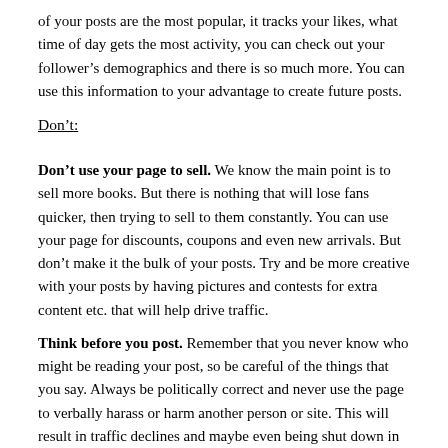of your posts are the most popular, it tracks your likes, what time of day gets the most activity, you can check out your follower’s demographics and there is so much more. You can use this information to your advantage to create future posts.
Don’t:
Don’t use your page to sell. We know the main point is to sell more books. But there is nothing that will lose fans quicker, then trying to sell to them constantly. You can use your page for discounts, coupons and even new arrivals. But don’t make it the bulk of your posts. Try and be more creative with your posts by having pictures and contests for extra content etc. that will help drive traffic.
Think before you post. Remember that you never know who might be reading your post, so be careful of the things that you say. Always be politically correct and never use the page to verbally harass or harm another person or site. This will result in traffic declines and maybe even being shut down in general.